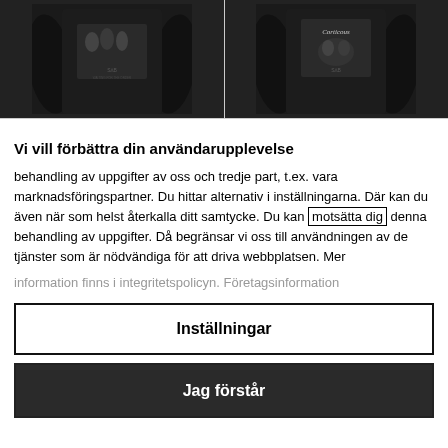[Figure (photo): Two black hooded sweatshirts shown from the back, each featuring a band/graphic print. Left hoodie shows a group photo print, right hoodie shows text 'Corticous' and a graphic.]
Vi vill förbättra din användarupplevelse
behandling av uppgifter av oss och tredje part, t.ex. vara marknadsföringspartner. Du hittar alternativ i inställningarna. Där kan du även när som helst återkalla ditt samtycke. Du kan motsätta dig denna behandling av uppgifter. Då begränsar vi oss till användningen av de tjänster som är nödvändiga för att driva webbplatsen. Mer information finns i integritetspolicyn. Företagsinformation
Inställningar
Jag förstår